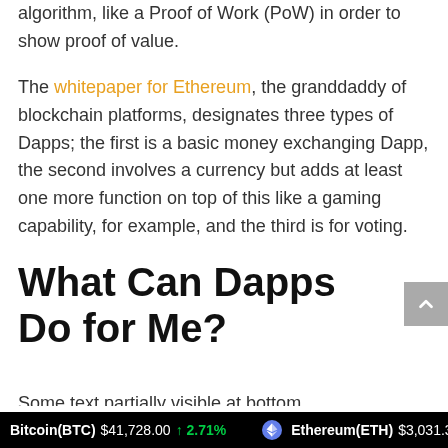algorithm, like a Proof of Work (PoW) in order to show proof of value.
The whitepaper for Ethereum, the granddaddy of blockchain platforms, designates three types of Dapps; the first is a basic money exchanging Dapp, the second involves a currency but adds at least one more function on top of this like a gaming capability, for example, and the third is for voting.
What Can Dapps Do for Me?
Bitcoin(BTC) $41,728.00 ↑ 2.71%   Ethereum(ETH) $3,031.32 ↑